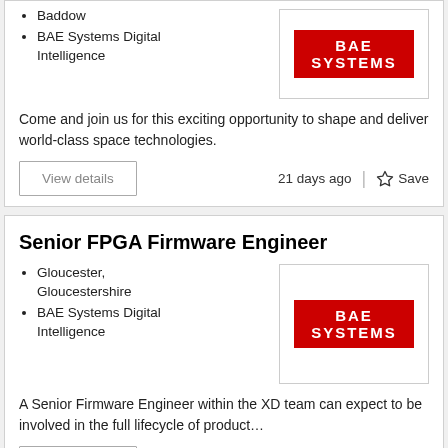Baddow
BAE Systems Digital Intelligence
[Figure (logo): BAE SYSTEMS logo, white text on red background, inside a bordered box]
Come and join us for this exciting opportunity to shape and deliver world-class space technologies.
View details   21 days ago | ☆ Save
Senior FPGA Firmware Engineer
Gloucester, Gloucestershire
BAE Systems Digital Intelligence
[Figure (logo): BAE SYSTEMS logo, white text on red background, inside a bordered box]
A Senior Firmware Engineer within the XD team can expect to be involved in the full lifecycle of product…